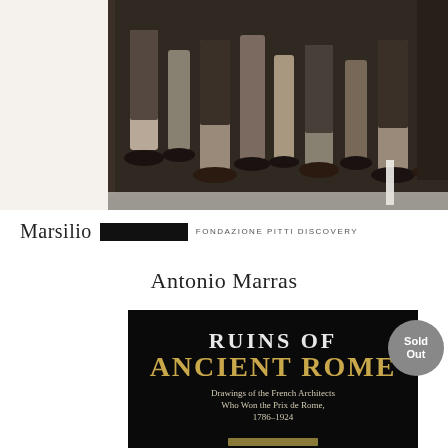[Figure (photo): Black and white photograph showing legs and feet of multiple people standing, cropped at the top of the page]
Marsilio [black box] FONDAZIONE PITTI DISCOVERY
Antonio Marras
[Figure (photo): Book cover with black background showing title 'RUINS OF ANCIENT ROME' in gold and white serif type, subtitle 'Drawings of the French Architects Who Won the Prix de Rome, 1786–1924', with a 'Sold Out' badge overlay]
Sold Out